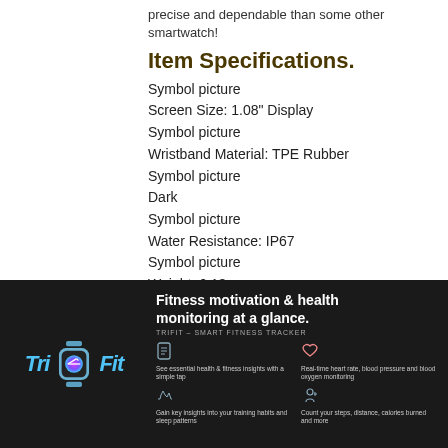precise and dependable than some other smartwatch!
Item Specifications.
Symbol picture
Screen Size: 1.08" Display
Symbol picture
Wristband Material: TPE Rubber
Symbol picture
Dark
Symbol picture
Water Resistance: IP67
Symbol picture
Weight: 6.13 oz
Symbol picture
Battery reinforcement
[Figure (infographic): Dark banner showing TriFit smartwatch logo on left with blue smartwatch illustration. Right side shows 'Fitness motivation & health monitoring at a glance.' heading with TRIFIT - SMART FITNESS TRACKER subtitle. Four feature icons with descriptions: health & fitness insights, real-time heart rate/blood pressure/blood oxygen monitoring, training habits insights, count steps/distance/calories burned.]